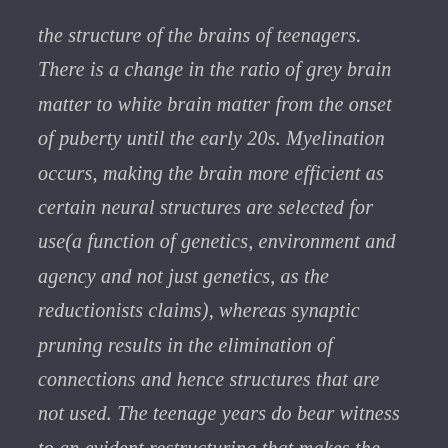the structure of the brains of teenagers. There is a change in the ratio of grey brain matter to white brain matter from the onset of puberty until the early 20s. Myelination occurs, making the brain more efficient as certain neural structures are selected for use(a function of genetics, environment and agency and not just genetics, as the reductionists claims), whereas synaptic pruning results in the elimination of connections and hence structures that are not used. The teenage years do bear witness to an evident restructuring that makes the neural structures more nearly approximate the more rigid structures of adult brains. By the age of 14, more or less, teenage brains are similar in structure to the structure of adult brains, but they need to be edited and organized into